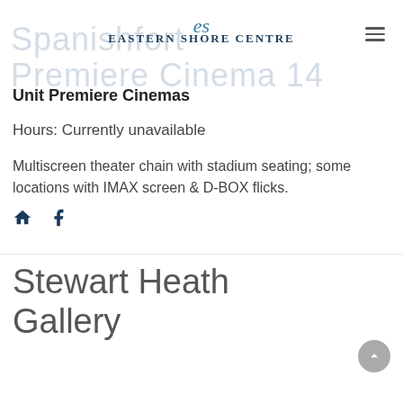[Figure (logo): Eastern Shore Centre logo with stylized 'es' script above the text 'EASTERN SHORE CENTRE']
Spanishefort Premiere Cinema 14
Unit Premiere Cinemas
Hours: Currently unavailable
Multiscreen theater chain with stadium seating; some locations with IMAX screen & D-BOX flicks.
Stewart Heath Gallery